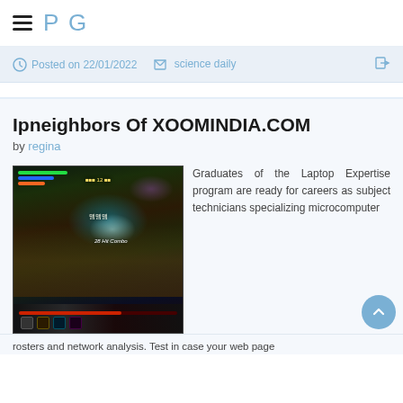PG
Posted on 22/01/2022   science daily
Ipneighbors Of XOOMINDIA.COM
by regina
[Figure (screenshot): Screenshot of an online game showing characters in a fantasy battle scene with HUD elements, health bars, and glowing effects.]
Graduates of the Laptop Expertise program are ready for careers as subject technicians specializing microcomputer
rosters and network analysis. Test in case your web page